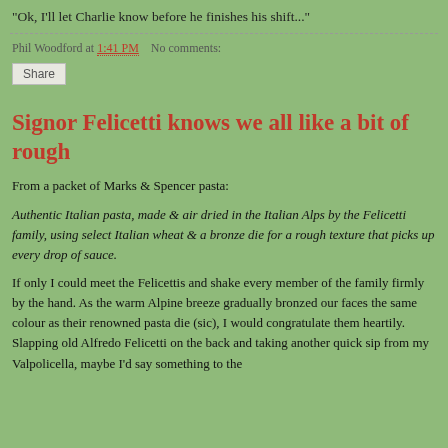"Ok, I'll let Charlie know before he finishes his shift..."
Phil Woodford at 1:41 PM    No comments:
Share
Signor Felicetti knows we all like a bit of rough
From a packet of Marks & Spencer pasta:
Authentic Italian pasta, made & air dried in the Italian Alps by the Felicetti family, using select Italian wheat & a bronze die for a rough texture that picks up every drop of sauce.
If only I could meet the Felicettis and shake every member of the family firmly by the hand. As the warm Alpine breeze gradually bronzed our faces the same colour as their renowned pasta die (sic), I would congratulate them heartily. Slapping old Alfredo Felicetti on the back and taking another quick sip from my Valpolicella, maybe I'd say something to the